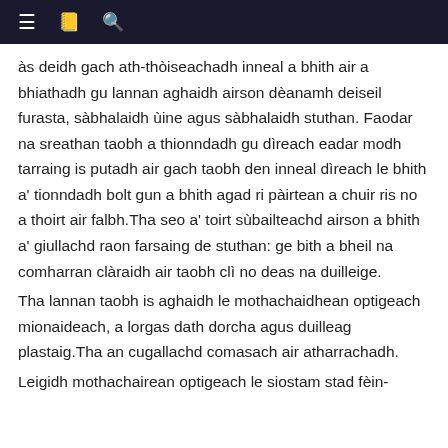≡ 📖 🔍
às deidh gach ath-thòiseachadh inneal a bhith air a bhiathadh gu lannan aghaidh airson dèanamh deiseil furasta, sàbhalaidh ùine agus sàbhalaidh stuthan. Faodar na sreathan taobh a thionndadh gu dìreach eadar modh tarraing is putadh air gach taobh den inneal dìreach le bhith a' tionndadh bolt gun a bhith agad ri pàirtean a chuir ris no a thoirt air falbh.Tha seo a' toirt sùbailteachd airson a bhith a' giullachd raon farsaing de stuthan: ge bith a bheil na comharran clàraidh air taobh clì no deas na duilleige.
Tha lannan taobh is aghaidh le mothachaidhean optigeach mionaideach, a lorgas dath dorcha agus duilleag plastaig.Tha an cugallachd comasach air atharrachadh.
Leigidh mothachairean optigeach le siostam stad fèin-